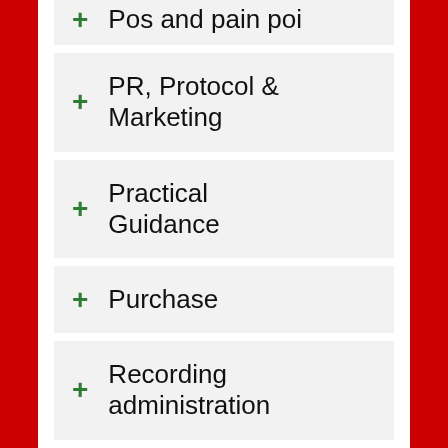Pos and pain poi
PR, Protocol & Marketing
Practical Guidance
Purchase
Recording administration
Social Care